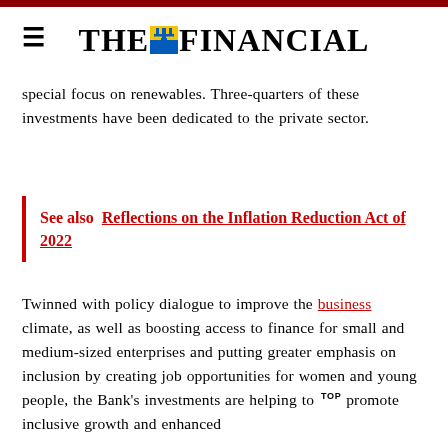THE FINANCIAL
special focus on renewables. Three-quarters of these investments have been dedicated to the private sector.
See also  Reflections on the Inflation Reduction Act of 2022
Twinned with policy dialogue to improve the business climate, as well as boosting access to finance for small and medium-sized enterprises and putting greater emphasis on inclusion by creating job opportunities for women and young people, the Bank's investments are helping to TOP promote inclusive growth and enhanced